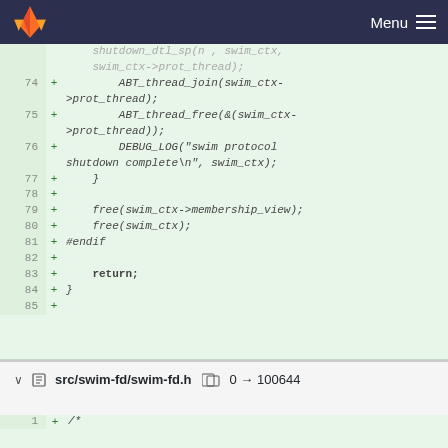GitLab — Menu
[Figure (screenshot): Code diff view showing lines 74-85 of a C source file with added lines including ABT_thread_join, ABT_thread_free, DEBUG_LOG, free calls, #endif, return, and closing brace]
src/swim-fd/swim-fd.h  0 → 100644
[Figure (screenshot): Start of new file diff showing line 1 with /*]